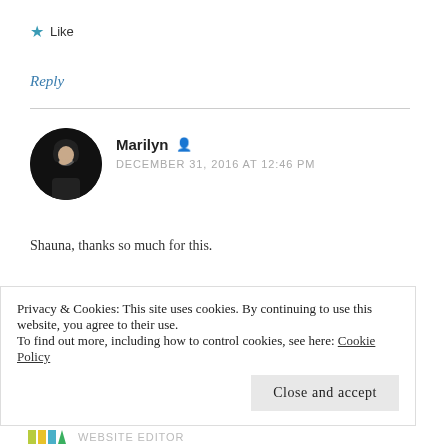Like
Reply
Marilyn
DECEMBER 31, 2016 AT 12:46 PM
Shauna, thanks so much for this.
Like
Privacy & Cookies: This site uses cookies. By continuing to use this website, you agree to their use.
To find out more, including how to control cookies, see here: Cookie Policy
Close and accept